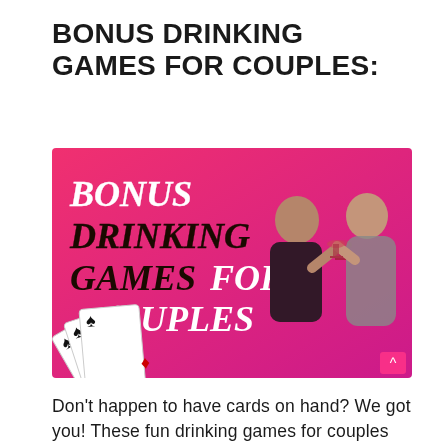BONUS DRINKING GAMES FOR COUPLES:
[Figure (illustration): Banner image with pink/magenta background showing text 'BONUS DRINKING GAMES FOR COUPLES' in decorative font on the left, a couple toasting with wine glasses on the right, and playing cards fanned out at the bottom left.]
Don't happen to have cards on hand? We got you! These fun drinking games for couples only need two things: Alcohol